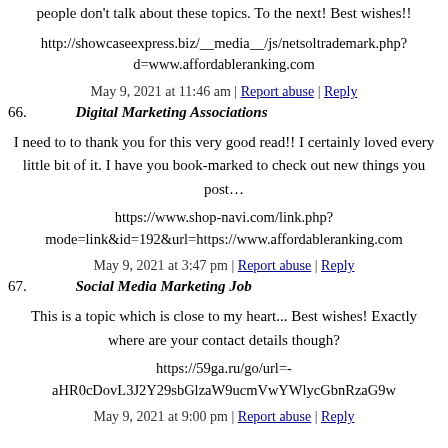people don't talk about these topics. To the next! Best wishes!!
http://showcaseexpress.biz/__media__/js/netsoltrademark.php? d=www.affordableranking.com
May 9, 2021 at 11:46 am | Report abuse | Reply
66. Digital Marketing Associations
I need to to thank you for this very good read!! I certainly loved every little bit of it. I have you book-marked to check out new things you post…
https://www.shop-navi.com/link.php?mode=link&id=192&url=https://www.affordableranking.com
May 9, 2021 at 3:47 pm | Report abuse | Reply
67. Social Media Marketing Job
This is a topic which is close to my heart... Best wishes! Exactly where are your contact details though?
https://59ga.ru/go/url=-aHR0cDovL3J2Y29sbGlzaW9ucmVwYWlycGbnRzaG9w
May 9, 2021 at 9:00 pm | Report abuse | Reply